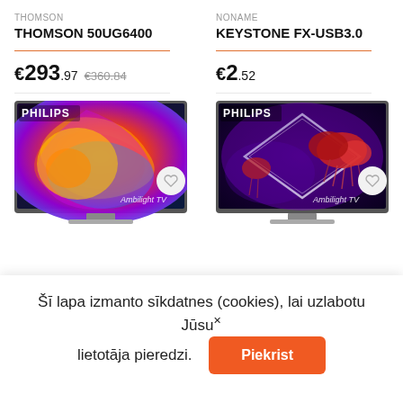THOMSON
THOMSON 50UG6400
€293.97 €360.84
NONAME
KEYSTONE FX-USB3.0
€2.52
[Figure (photo): Philips Ambilight TV product image showing colorful swirl display]
[Figure (photo): Philips Ambilight TV product image showing jellyfish on dark purple background]
Šī lapa izmanto sīkdatnes (cookies), lai uzlabotu Jūsu lietotāja pieredzi.